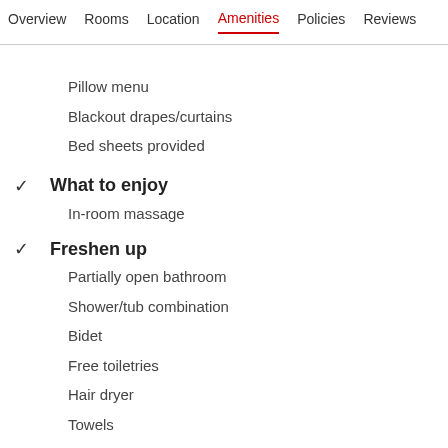Overview  Rooms  Location  Amenities  Policies  Reviews
Pillow menu
Blackout drapes/curtains
Bed sheets provided
✓  What to enjoy
In-room massage
✓  Freshen up
Partially open bathroom
Shower/tub combination
Bidet
Free toiletries
Hair dryer
Towels
✓  Stay connected